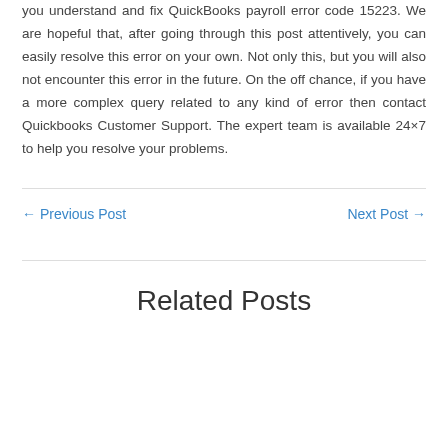you understand and fix QuickBooks payroll error code 15223. We are hopeful that, after going through this post attentively, you can easily resolve this error on your own. Not only this, but you will also not encounter this error in the future. On the off chance, if you have a more complex query related to any kind of error then contact Quickbooks Customer Support. The expert team is available 24×7 to help you resolve your problems.
← Previous Post
Next Post →
Related Posts